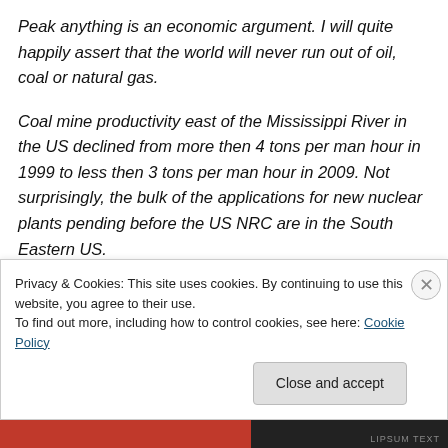Peak anything is an economic argument. I will quite happily assert that the world will never run out of oil, coal or natural gas.
Coal mine productivity east of the Mississippi River in the US declined from more then 4 tons per man hour in 1999 to less then 3 tons per man hour in 2009. Not surprisingly, the bulk of the applications for new nuclear plants pending before the US NRC are in the South Eastern US.
Privacy & Cookies: This site uses cookies. By continuing to use this website, you agree to their use. To find out more, including how to control cookies, see here: Cookie Policy